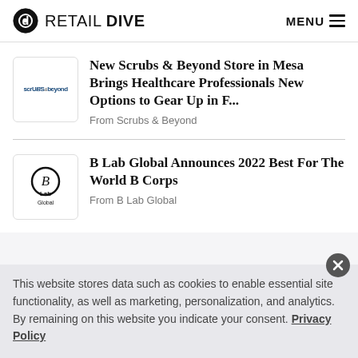RETAIL DIVE | MENU
New Scrubs & Beyond Store in Mesa Brings Healthcare Professionals New Options to Gear Up in F...
From Scrubs & Beyond
B Lab Global Announces 2022 Best For The World B Corps
From B Lab Global
This website stores data such as cookies to enable essential site functionality, as well as marketing, personalization, and analytics. By remaining on this website you indicate your consent. Privacy Policy